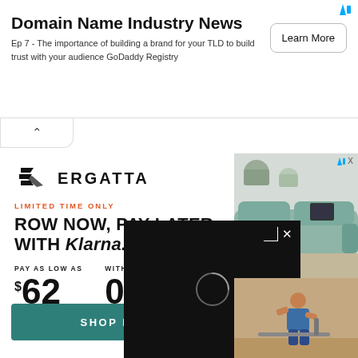[Figure (screenshot): Ad banner for Domain Name Industry News podcast: Ep 7 about building a brand for TLD with Learn More button]
Domain Name Industry News
Ep 7 - The importance of building a brand for your TLD to build trust with your audience GoDaddy Registry
[Figure (logo): Ergatta logo with stylized rowing icon and text ERGATTA]
LIMITED TIME ONLY
ROW NOW, PAY LATER WITH Klarna.
PAY AS LOW AS $62 PER MONTH WITH 0% APR FINANCING
[Figure (photo): Right side advertisement showing teal/green furniture sofa and a tablet screen]
[Figure (screenshot): Black video player overlay with loading spinner and X close button]
[Figure (photo): Person in blue tank top using rowing machine]